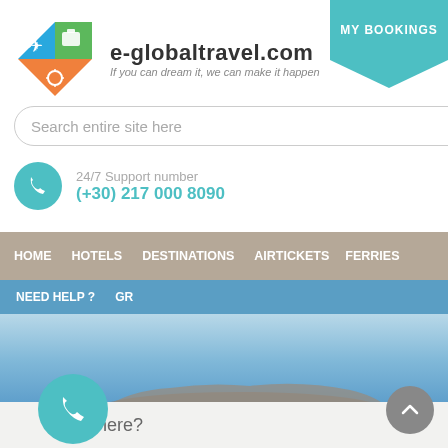[Figure (logo): e-globaltravel.com logo with airplane and suitcase icons in blue/green/orange triangles, and tagline 'If you can dream it, we can make it happen']
MY BOOKINGS
Search entire site here
24/7 Support number
(+30) 217 000 8090
HOME   HOTELS   DESTINATIONS   AIRTICKETS   FERRIES
NEED HELP ?   GR
[Figure (photo): Aerial view of a Greek island (likely Santorini area) against a blue sky and sea]
Where?